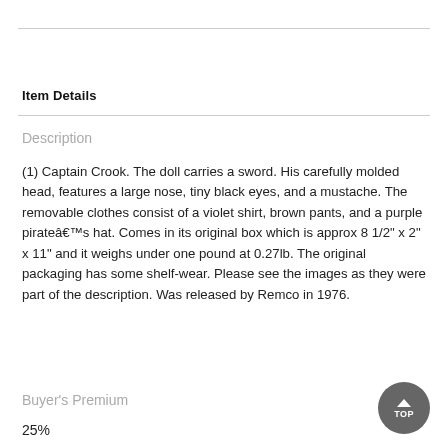Item Details
Description
(1) Captain Crook. The doll carries a sword. His carefully molded head, features a large nose, tiny black eyes, and a mustache. The removable clothes consist of a violet shirt, brown pants, and a purple pirateâ€™s hat. Comes in its original box which is approx 8 1/2" x 2" x 11" and it weighs under one pound at 0.27lb. The original packaging has some shelf-wear. Please see the images as they were part of the description. Was released by Remco in 1976.
Buyer's Premium
25%